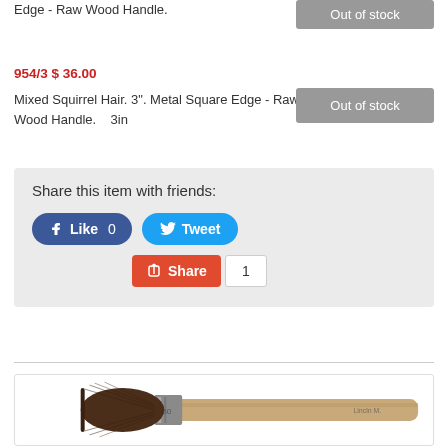Edge - Raw Wood Handle.
954/3 $ 36.00
Mixed Squirrel Hair. 3". Metal Square Edge - Raw Wood Handle.	3in
Share this item with friends:
[Figure (screenshot): Social share buttons: Facebook Like 0, Tweet, Google+ Share with count 1]
[Figure (photo): A wide flat paint brush with dark brown squirrel hair bristles, metal ferrule stamped with numbers, and a raw wood handle, photographed on a white background.]